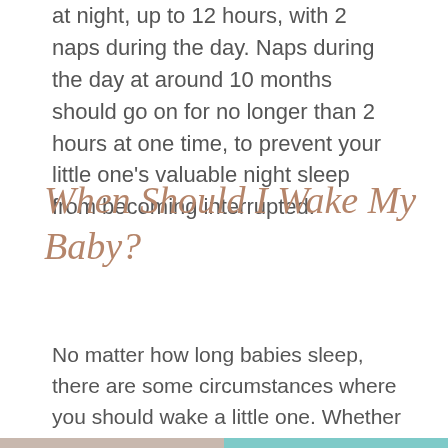at night, up to 12 hours, with 2 naps during the day. Naps during the day at around 10 months should go on for no longer than 2 hours at one time, to prevent your little one's valuable night sleep from becoming interrupted.
When Should I Wake My Baby?
No matter how long babies sleep, there are some circumstances where you should wake a little one. Whether it is to regulate sleep patterns or to ensure a baby is in a safe position, waking a child is sometimes necessary, even if you have to experience a grumpy and tearful little one for a while.